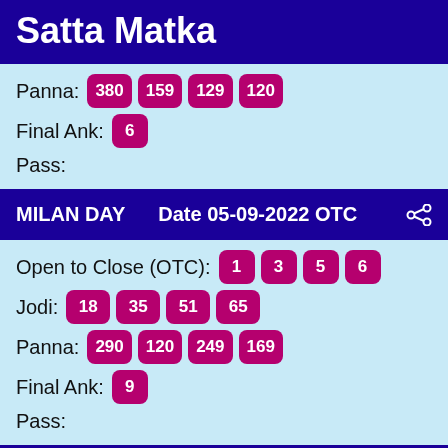Satta Matka
Panna: 380 159 129 120
Final Ank: 6
Pass:
MILAN DAY    Date 05-09-2022 OTC
Open to Close (OTC): 1 3 5 6
Jodi: 18 35 51 65
Panna: 290 120 249 169
Final Ank: 9
Pass:
TIME BAZER    Date 05-09-2022 OTC
Open to Close (OTC): 5 7 6 1
Jodi: